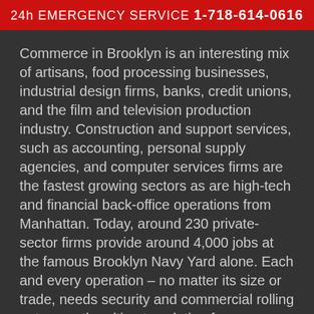24h EMERGENCY SERVICE 1-718-614-0616
Commerce in Brooklyn is an interesting mix of artisans, food processing businesses, industrial design firms, banks, credit unions, and the film and television production industry. Construction and support services, such as accounting, personal supply agencies, and computer services firms are the fastest growing sectors as are high-tech and financial back-office operations from Manhattan. Today, around 230 private-sector firms provide around 4,000 jobs at the famous Brooklyn Navy Yard alone. Each and every operation – no matter its size or trade, needs security and commercial rolling gates are the ultimate solution for Brooklyn's budding businesses.
Almost every business has a commercial rolling gate not only in Brooklyn, but the entire tri-state area. They